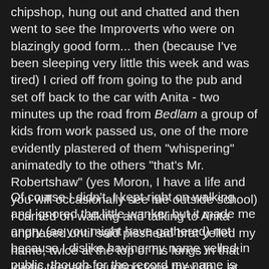chipshop, hung out and chatted and then went to see the Improverts who were on blazingly good form... then (because I've been sleeping very little this week and was tired) I cried off from going to the pub and set off back to the car with Anita - two minutes up the road from Bedlam a group of kids from work passed us, one of the more evidently plastered of them "whispering" animatedly to the others "that's Mr. Robertshaw" (yes Moron, I have a life and you will occasionally see me outside school) I carried on walking and talking to Anita unphased until said pisshead brat yelled my name, twice at the top of his lungs in that idiotic teenage taunting tone they do... at that point part of me wanted very much to turn round, walk up to him and just tell him to fuck off because I'm not on the meter and so in theory I could...
Of course I didn't, I kept right on walking and ignored the little wanker but it made me angry (as you might have gathered) not because I dislike having my name yelled in public, though for the record my name is not "Robertshaw!" halfwit it's Patrick and you don't know that because you don't know me, no it made me angry because right at the end of my wonderful Friday night, all the very worst of my job was